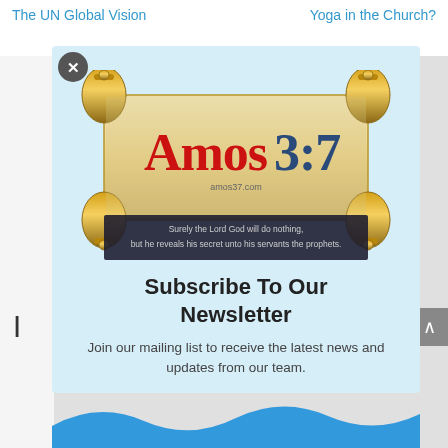The UN Global Vision | Yoga in the Church?
[Figure (logo): Amos 3:7 website logo — a decorative scroll with gold finials, displaying 'Amos3:7' in red and blue text, with 'amos37.com' below, and a dark banner reading 'Surely the Lord God will do nothing, but he reveals his secret unto his servants the prophets.']
Subscribe To Our Newsletter
Join our mailing list to receive the latest news and updates from our team.